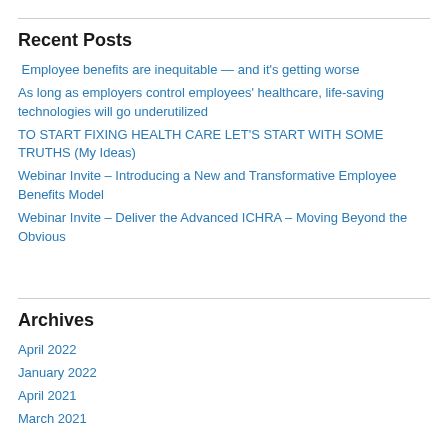Recent Posts
Employee benefits are inequitable — and it's getting worse
As long as employers control employees' healthcare, life-saving technologies will go underutilized
TO START FIXING HEALTH CARE LET'S START WITH SOME TRUTHS (My Ideas)
Webinar Invite – Introducing a New and Transformative Employee Benefits Model
Webinar Invite – Deliver the Advanced ICHRA – Moving Beyond the Obvious
Archives
April 2022
January 2022
April 2021
March 2021